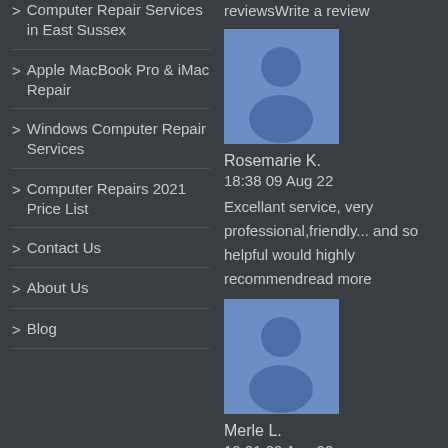Computer Repair Services in East Sussex
Apple MacBook Pro & iMac Repair
Windows Computer Repair Services
Computer Repairs 2021 Price List
Contact Us
About Us
Blog
reviewsWrite a review
[Figure (illustration): User avatar placeholder icon - blue background with person silhouette]
Rosemarie K.
18:38 09 Aug 22
Excellant service, very professional,friendly... and so helpful would highly recommendread more
[Figure (illustration): User avatar placeholder icon - blue background with person silhouette]
Merle L.
10:01 09 Aug 22
I recommend Khalifa's excellent, reassuring.... support